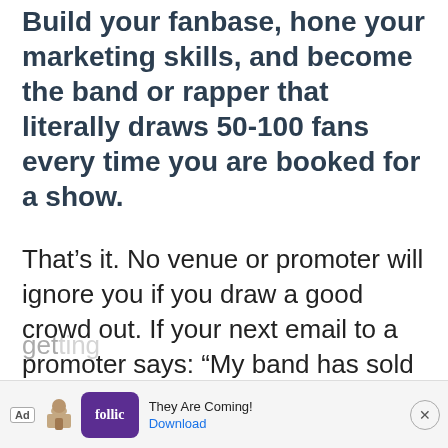Build your fanbase, hone your marketing skills, and become the band or rapper that literally draws 50-100 fans every time you are booked for a show.
That's it. No venue or promoter will ignore you if you draw a good crowd out. If your next email to a promoter says: “My band has sold over 50 tickets to the last 4 shows we played, if you book us we guarantee we will have 50 people there to see us.” Your odds of getting booked...